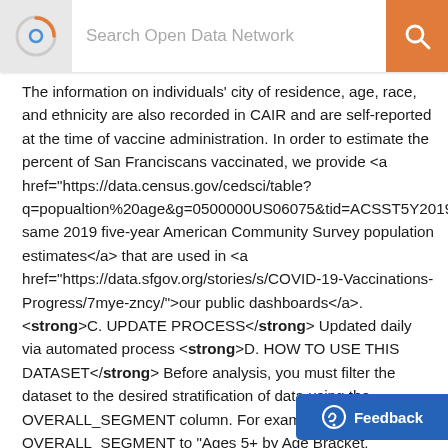Search Open Data Network
The information on individuals' city of residence, age, race, and ethnicity are also recorded in CAIR and are self-reported at the time of vaccine administration. In order to estimate the percent of San Franciscans vaccinated, we provide <a href="https://data.census.gov/cedsci/table?q=popualtion%20age&g=0500000US06075&tid=ACSST5Y2019.S0101&hidePreview=false">the same 2019 five-year American Community Survey population estimates</a> that are used in <a href="https://data.sfgov.org/stories/s/COVID-19-Vaccinations-Progress/7mye-zncy/">our public dashboards</a>. <strong>C. UPDATE PROCESS</strong> Updated daily via automated process <strong>D. HOW TO USE THIS DATASET</strong> Before analysis, you must filter the dataset to the desired stratification of data using the OVERALL_SEGMENT column. For example, filtering OVERALL_SEGMENT to "Ages 5+ by Age Bracket, Administered by will filter the data to residents 5 and